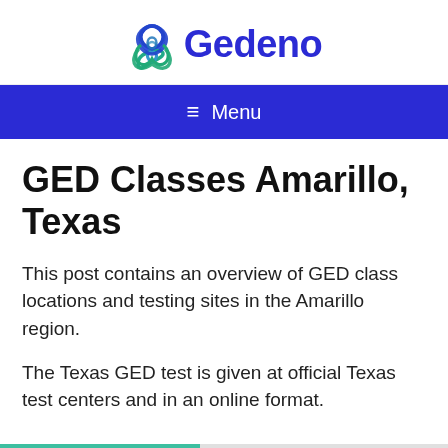Gedeno
Menu
GED Classes Amarillo, Texas
This post contains an overview of GED class locations and testing sites in the Amarillo region.
The Texas GED test is given at official Texas test centers and in an online format.